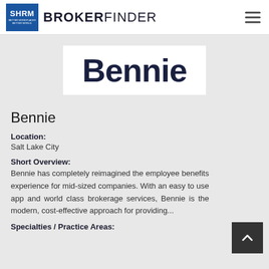SHRM BROKERFINDER
[Figure (logo): Bennie company logo — large bold dark navy text reading 'Bennie' on a white background]
Bennie
Location:
Salt Lake City
Short Overview:
Bennie has completely reimagined the employee benefits experience for mid-sized companies. With an easy to use app and world class brokerage services, Bennie is the modern, cost-effective approach for providing...
Specialties / Practice Areas: